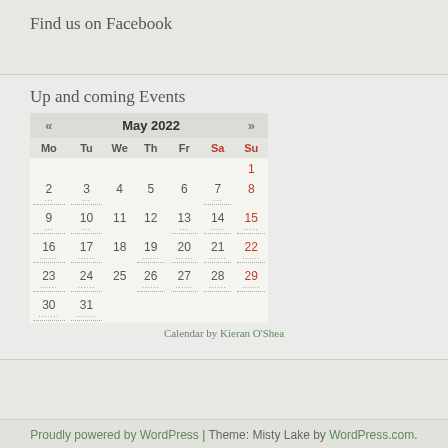Find us on Facebook
Up and coming Events
| Mo | Tu | We | Th | Fr | Sa | Su |
| --- | --- | --- | --- | --- | --- | --- |
|  |  |  |  |  |  | 1 |
| 2 | 3 | 4 | 5 | 6 | 7 | 8 |
| 9 | 10 | 11 | 12 | 13 | 14 | 15 |
| 16 | 17 | 18 | 19 | 20 | 21 | 22 |
| 23 | 24 | 25 | 26 | 27 | 28 | 29 |
| 30 | 31 |  |  |  |  |  |
Calendar by Kieran O'Shea
Proudly powered by WordPress | Theme: Misty Lake by WordPress.com.